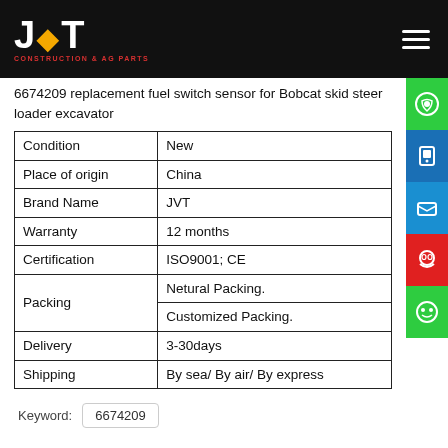JVT CONSTRUCTION & AG PARTS
6674209 replacement fuel switch sensor for Bobcat skid steer loader excavator
|  |  |
| --- | --- |
| Condition | New |
| Place of origin | China |
| Brand Name | JVT |
| Warranty | 12 months |
| Certification | ISO9001; CE |
| Packing | Netural Packing. |
|  | Customized Packing. |
| Delivery | 3-30days |
| Shipping | By sea/ By air/ By express |
Keyword: 6674209